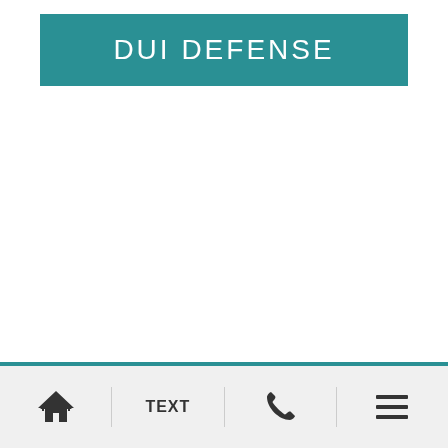DUI DEFENSE
Home | TEXT | Phone | Menu